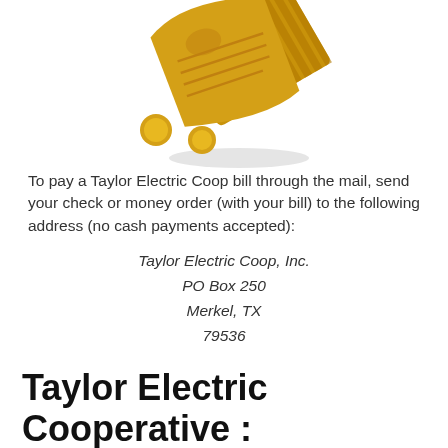[Figure (illustration): Golden/yellow stylized folded bill or document with coins, illustrating payment by mail]
To pay a Taylor Electric Coop bill through the mail, send your check or money order (with your bill) to the following address (no cash payments accepted):
Taylor Electric Coop, Inc.
PO Box 250
Merkel, TX
79536
Taylor Electric Cooperative :